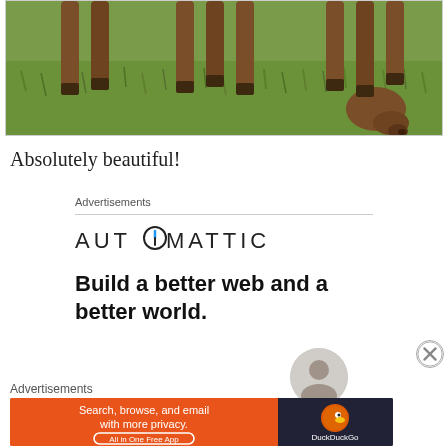[Figure (photo): Horses grazing on green grass, close-up of legs and heads bowing down to eat]
Absolutely beautiful!
Advertisements
[Figure (logo): Automattic logo with compass icon replacing the letter O]
Build a better web and a better world.
Advertisements
[Figure (screenshot): DuckDuckGo advertisement banner: orange background with text 'Search, browse, and email with more privacy. All in One Free App' and DuckDuckGo logo on right]